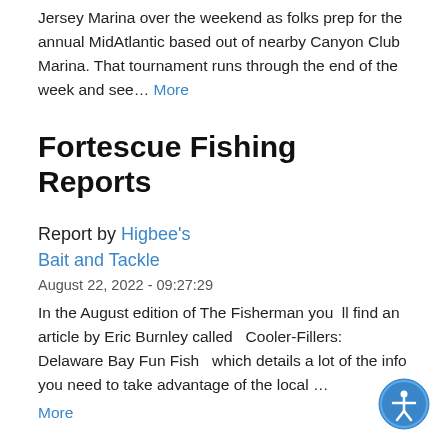Jersey Marina over the weekend as folks prep for the annual MidAtlantic based out of nearby Canyon Club Marina. That tournament runs through the end of the week and see... More
Fortescue Fishing Reports
Report by Higbee's Bait and Tackle
August 22, 2022 - 09:27:29
In the August edition of The Fisherman you ll find an article by Eric Burnley called   Cooler-Fillers: Delaware Bay Fun Fish   which details a lot of the info you need to take advantage of the local ... More